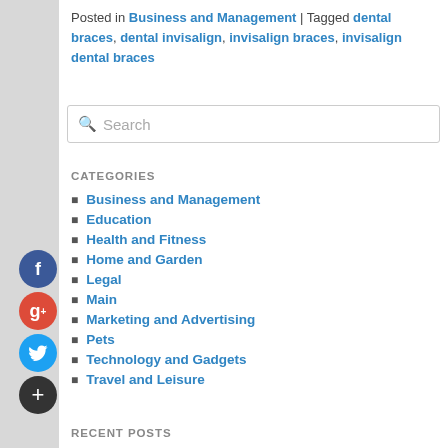Posted in Business and Management | Tagged dental braces, dental invisalign, invisalign braces, invisalign dental braces
CATEGORIES
Business and Management
Education
Health and Fitness
Home and Garden
Legal
Main
Marketing and Advertising
Pets
Technology and Gadgets
Travel and Leisure
RECENT POSTS